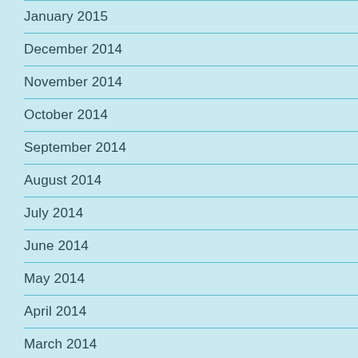January 2015
December 2014
November 2014
October 2014
September 2014
August 2014
July 2014
June 2014
May 2014
April 2014
March 2014
Febr…